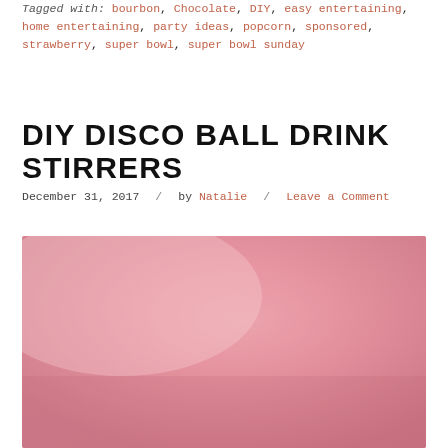Tagged with: bourbon, Chocolate, DIY, easy entertaining, home entertaining, party ideas, popcorn, sponsored, strawberry, super bowl, super bowl sunday
DIY DISCO BALL DRINK STIRRERS
December 31, 2017 / by Natalie / Leave a Comment
[Figure (photo): Pink gradient background photo, partially visible, soft pink tones]